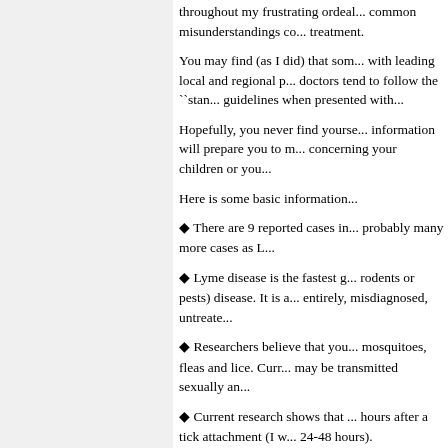throughout my frustrating ordeal... common misunderstandings co... treatment.
You may find (as I did) that som... with leading local and regional p... doctors tend to follow the ``stan... guidelines when presented with...
Hopefully, you never find yourse... information will prepare you to m... concerning your children or you...
Here is some basic information...
There are 9 reported cases in... probably many more cases as L...
Lyme disease is the fastest g... rodents or pests) disease. It is a... entirely, misdiagnosed, untreate...
Researchers believe that you... mosquitoes, fleas and lice. Curr... may be transmitted sexually an...
Current research shows that ... hours after a tick attachment (I w... 24-48 hours).
If you have the bulls-eye rash...